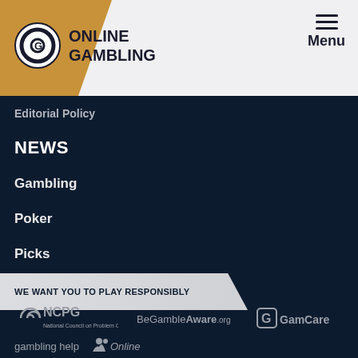[Figure (logo): Online Gambling logo with circular G icon, on a gold/orange triangle background in the header]
Menu
Editorial Policy
NEWS
Gambling
Poker
Picks
WE WANT YOU TO PLAY RESPONSIBLY
[Figure (logo): NCPG - National Council on Problem Gambling logo]
[Figure (logo): BeGambleAware.org logo]
[Figure (logo): GamCare logo]
[Figure (logo): gambling help Online logo]